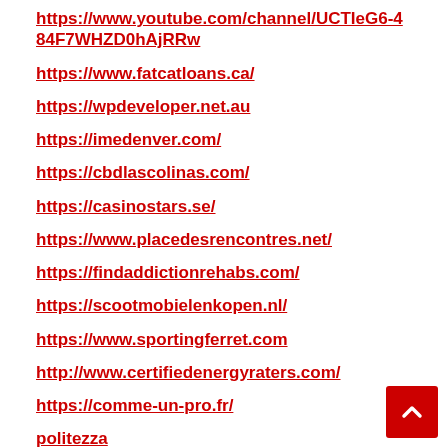https://www.youtube.com/channel/UCTIeG6-484F7WHZD0hAjRRw
https://www.fatcatloans.ca/
https://wpdeveloper.net.au
https://imedenver.com/
https://cbdlascolinas.com/
https://casinostars.se/
https://www.placedesrencontres.net/
https://findaddictionrehabs.com/
https://scootmobielenkopen.nl/
https://www.sportingferret.com
http://www.certifiedenergyraters.com/
https://comme-un-pro.fr/
politezza
google.activity